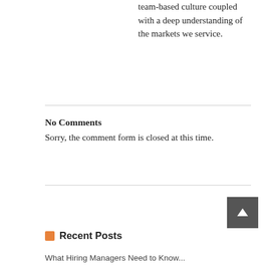team-based culture coupled with a deep understanding of the markets we service.
No Comments
Sorry, the comment form is closed at this time.
Recent Posts
What Hiring Managers Need to Know...